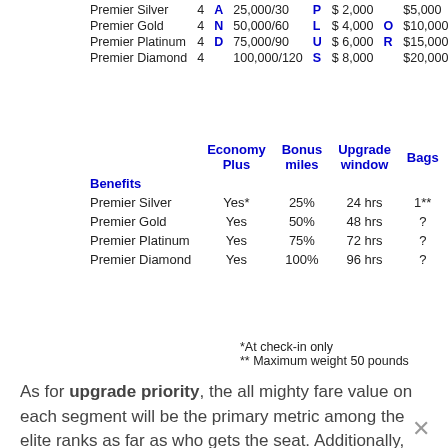|  |  |  |  |  |  |  |  |
| --- | --- | --- | --- | --- | --- | --- | --- |
| Premier Silver | 4 | A | 25,000/30 | P | $ 2,000 |  | $5,000 |
| Premier Gold | 4 | N | 50,000/60 | L | $ 4,000 | O | $10,000 |
| Premier Platinum | 4 | D | 75,000/90 | U | $ 6,000 | R | $15,000 |
| Premier Diamond | 4 |  | 100,000/120 | S | $ 8,000 |  | $20,000 |
| Benefits | Economy Plus | Bonus miles | Upgrade window | Bags |
| --- | --- | --- | --- | --- |
| Premier Silver | Yes* | 25% | 24 hrs | 1** |
| Premier Gold | Yes | 50% | 48 hrs | ? |
| Premier Platinum | Yes | 75% | 72 hrs | ? |
| Premier Diamond | Yes | 100% | 96 hrs | ? |
*At check-in only
** Maximum weight 50 pounds
As for upgrade priority, the all mighty fare value on each segment will be the primary metric among the elite ranks as far as who gets the seat. Additionally, mileage upgrades with a co-pay will take priority over elites using Systemwide Upgrades or Regional Upgrades.